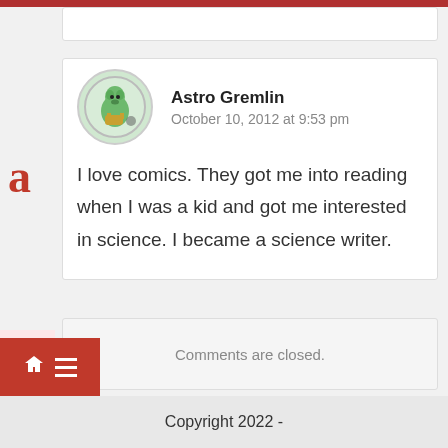Astro Gremlin
October 10, 2012 at 9:53 pm
I love comics. They got me into reading when I was a kid and got me interested in science. I became a science writer.
Comments are closed.
Copyright 2022 -